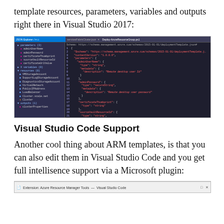template resources, parameters, variables and outputs right there in Visual Studio 2017:
[Figure (screenshot): Visual Studio 2017 IDE showing a JSON Explorer panel on the left with a tree of parameters, variables, resources, and outputs for an ARM template, and the template JSON code on the right with schema, contentVersion, and parameters sections visible.]
Visual Studio Code Support
Another cool thing about ARM templates, is that you can also edit them in Visual Studio Code and you get full intellisence support via a Microsoft plugin:
[Figure (screenshot): Bottom strip showing 'Extension: Azure Resource Manager Tools — Visual Studio Code' toolbar bar at the bottom of the page.]